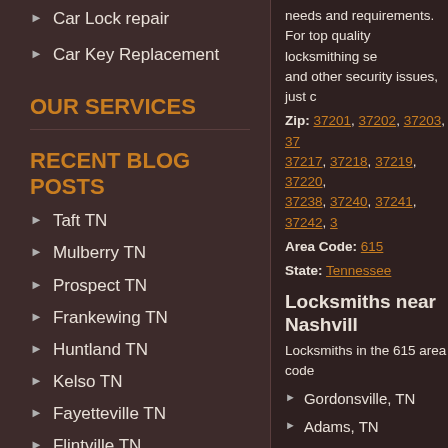Car Lock repair
Car Key Replacement
OUR SERVICES
RECENT BLOG POSTS
Taft TN
Mulberry TN
Prospect TN
Frankewing TN
Huntland TN
Kelso TN
Fayetteville TN
Flintville TN
Elkton TN
needs and requirements. For top quality locksmithing se... and other security issues, just c...
Zip: 37201, 37202, 37203, 37... 37217, 37218, 37219, 37220, ... 37238, 37240, 37241, 37242, 3...
Area Code: 615
State: Tennessee
Locksmiths near Nashvill...
Locksmiths in the 615 area code...
Gordonsville, TN
Adams, TN
Ashland City, TN
Burns, TN
Liberty, TN
Lancaster, TN
Smithville, TN
Chanmanchoro, TN